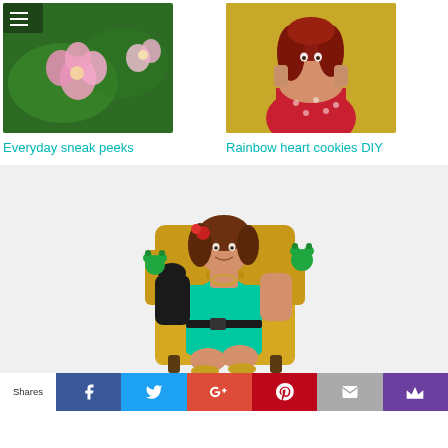[Figure (photo): Two side-by-side blog post thumbnails: left shows pink flowers with a hamburger menu icon overlay, right shows a woman with red hair in a red polka dot top]
Everyday sneak peeks
Rainbow heart cookies DIY
[Figure (photo): Woman in teal dress sitting in a gold tufted armchair, holding puppet/toy frogs, wearing black gloves, on a light gray background]
Shares